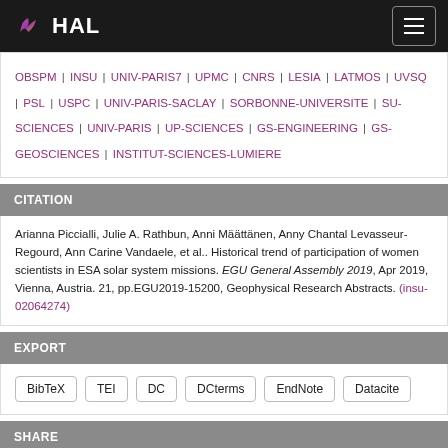HAL
OBSPM | INSU | UNIV-PARIS7 | UPMC | CNRS | LESIA | LATMOS | UVSQ | PSL | USPC | UNIV-PARIS-SACLAY | SORBONNE-UNIVERSITE | SU-SCIENCES | UNIV-PARIS | UP-SCIENCES | GS-ENGINEERING | GS-GEOSCIENCES | INSTITUT-SCIENCES-LUMIERE
CITATION
Arianna Piccialli, Julie A. Rathbun, Anni Määttänen, Anny Chantal Levasseur-Regourd, Ann Carine Vandaele, et al.. Historical trend of participation of women scientists in ESA solar system missions. EGU General Assembly 2019, Apr 2019, Vienna, Austria. 21, pp.EGU2019-15200, Geophysical Research Abstracts. (insu-02064274)
EXPORT
BibTeX
TEI
DC
DCterms
EndNote
Datacite
SHARE